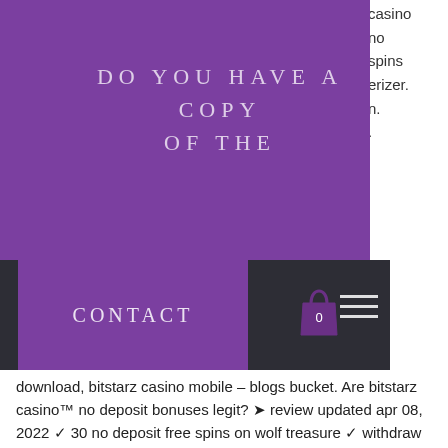[Figure (screenshot): Website screenshot showing a purple banner overlay with the text 'Do you have a copy of the', a dark navigation bar with a purple Contact button, a shopping bag icon with '0', and a hamburger menu icon.]
casino no spins erizer. n. .
download, bitstarz casino mobile – blogs bucket. Are bitstarz casino™ no deposit bonuses legit? ➤ review updated apr 08, 2022 ✓ 30 no deposit free spins on wolf treasure ✓ withdraw winnings instantly! Sol casino free sign-up bonus: 30 free spins ( free sign-up bonus link ) first deposit bonus: 200 up to 1000 ( registration link ) sign-up. Sign up at bitstarz casino today and get exclusive 30 free spins no deposit bonus on various slot games! maximum cashout for no deposit. Raging bull casino no deposit bonus. Free neosurf coupon &amp; promo code neosurf bonus codes free slots. Offer